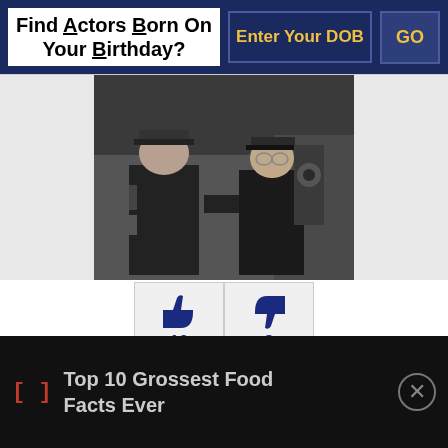Find Actors Born On Your Birthday?  Enter Your DOB  GO
[Figure (photo): Black and white photo of two men in naval/military uniforms facing each other]
10  2
This war drama film tells the story of a few divers who make an attempt to save the survivors of a destroyed
[ ]  Top 10 Grossest Food Facts Ever  ⊗